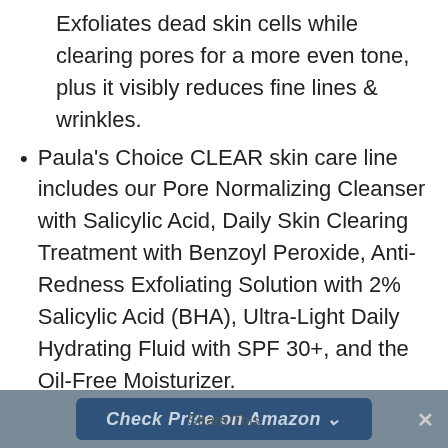Exfoliates dead skin cells while clearing pores for a more even tone, plus it visibly reduces fine lines & wrinkles.
Paula's Choice CLEAR skin care line includes our Pore Normalizing Cleanser with Salicylic Acid, Daily Skin Clearing Treatment with Benzoyl Peroxide, Anti-Redness Exfoliating Solution with 2% Salicylic Acid (BHA), Ultra-Light Daily Hydrating Fluid with SPF 30+, and the Oil-Free Moisturizer.
Paula's Choice Skincare makes products that work. No fragrance, no parabens, no fluff. Just effective, science-backed formulas that target any concern from wrinkles to breakouts.
Check Price on Amazon   Share This   ✕